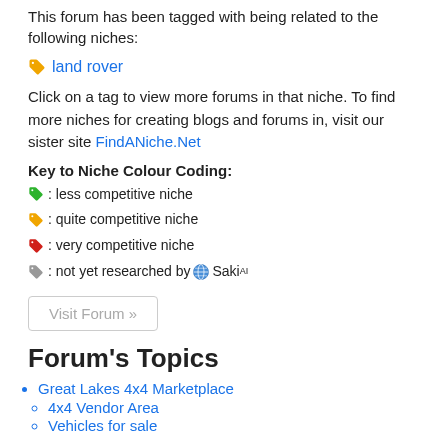This forum has been tagged with being related to the following niches:
land rover
Click on a tag to view more forums in that niche. To find more niches for creating blogs and forums in, visit our sister site FindANiche.Net
Key to Niche Colour Coding:
: less competitive niche
: quite competitive niche
: very competitive niche
: not yet researched by Saki AI
Visit Forum »
Forum's Topics
Great Lakes 4x4 Marketplace
4x4 Vendor Area
Vehicles for sale